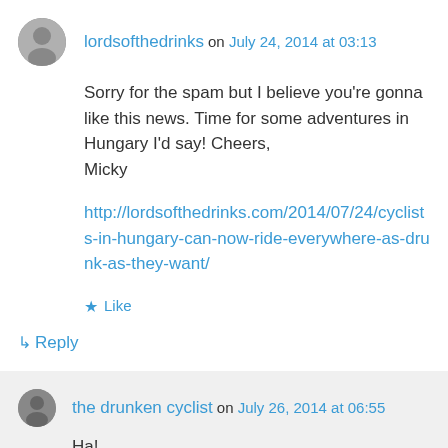lordsofthedrinks on July 24, 2014 at 03:13
Sorry for the spam but I believe you're gonna like this news. Time for some adventures in Hungary I'd say! Cheers,
Micky
http://lordsofthedrinks.com/2014/07/24/cyclists-in-hungary-can-now-ride-everywhere-as-drunk-as-they-want/
★ Like
↳ Reply
the drunken cyclist on July 26, 2014 at 06:55
Ha!